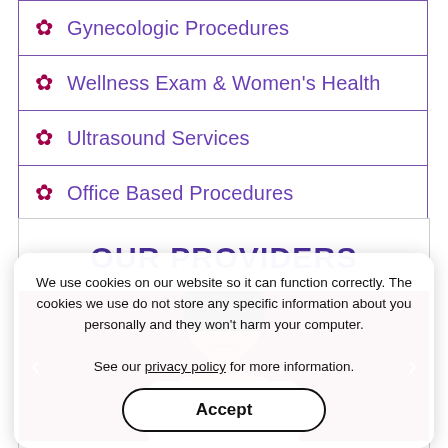Gynecologic Procedures
Wellness Exam & Women's Health
Ultrasound Services
Office Based Procedures
OUR PROVIDERS
[Figure (photo): Photo of a female medical provider against a dark pink/maroon background, with navigation arrows on left and right sides]
We use cookies on our website so it can function correctly. The cookies we use do not store any specific information about you personally and they won't harm your computer. See our privacy policy for more information.
Accept